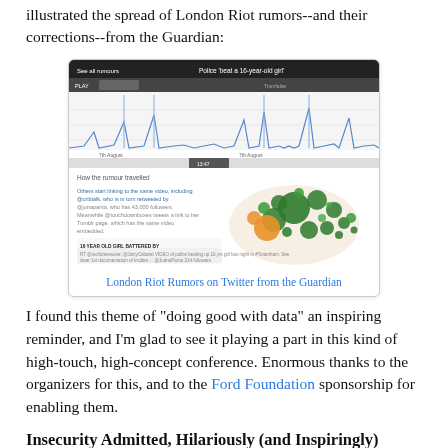illustrated the spread of London Riot rumors--and their corrections--from the Guardian:
[Figure (screenshot): Screenshot of an interactive visualization from the Guardian showing London Riot rumors on Twitter, including a timeline chart at the top with spikes and a bubble/network diagram below showing how the rumor spread.]
London Riot Rumors on Twitter from the Guardian
I found this theme of "doing good with data" an inspiring reminder, and I'm glad to see it playing a part in this kind of high-touch, high-concept conference. Enormous thanks to the organizers for this, and to the Ford Foundation sponsorship for enabling them.
Insecurity Admitted, Hilariously (and Inspiringly)